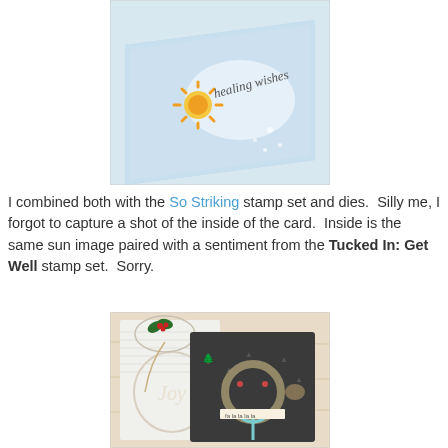[Figure (photo): A blue greeting card angled on a surface with a sun embellishment and 'healing wishes' script die cut on it, with white splatters.]
I combined both with the So Striking stamp set and dies.  Silly me, I forgot to capture a shot of the inside of the card.  Inside is the same sun image paired with a sentiment from the Tucked In: Get Well stamp set.  Sorry.
[Figure (photo): Crafting flatlay on a light wood surface showing a gift tag with holly and berries, a white embossed 'Joy' die cut card, and a dark chalkboard card with a wreath embellishment and teal ribbon.]